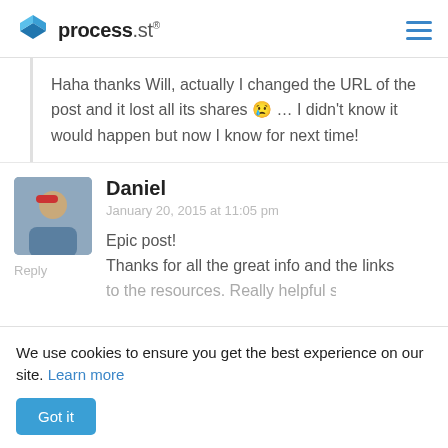process.st
Haha thanks Will, actually I changed the URL of the post and it lost all its shares 😢 … I didn't know it would happen but now I know for next time!
Daniel
January 20, 2015 at 11:05 pm
Reply
Epic post!
Thanks for all the great info and the links to the resources. Really helpful stuff!
We use cookies to ensure you get the best experience on our site. Learn more
Got it